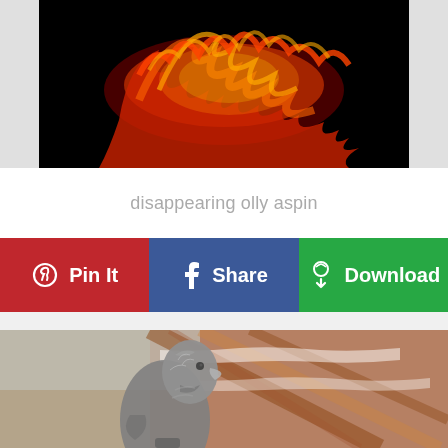[Figure (photo): Dark background image with glowing orange and gold fire/flame text or object in the center]
disappearing olly aspin
Pin It  Share  Download
[Figure (photo): Close-up photo of a silver/metal bird (eagle or similar) sculpture with blurred brick background]